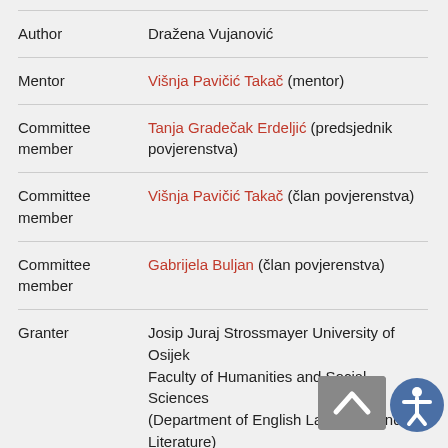| Field | Value |
| --- | --- |
| Author | Dražena Vujanović |
| Mentor | Višnja Pavičić Takač (mentor) |
| Committee member | Tanja Gradečak Erdeljić (predsjednik povjerenstva) |
| Committee member | Višnja Pavičić Takač (član povjerenstva) |
| Committee member | Gabrijela Buljan (član povjerenstva) |
| Granter | Josip Juraj Strossmayer University of Osijek
Faculty of Humanities and Social Sciences
(Department of English Language and Literature)
Osijek |